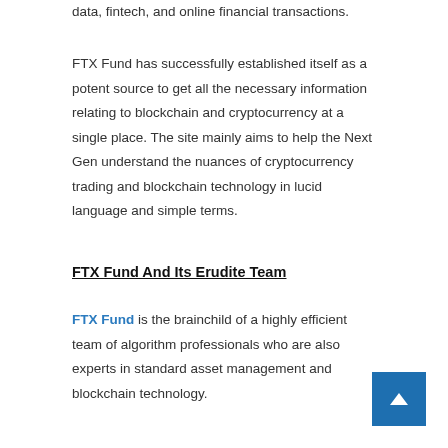data, fintech, and online financial transactions.
FTX Fund has successfully established itself as a potent source to get all the necessary information relating to blockchain and cryptocurrency at a single place. The site mainly aims to help the Next Gen understand the nuances of cryptocurrency trading and blockchain technology in lucid language and simple terms.
FTX Fund And Its Erudite Team
FTX Fund is the brainchild of a highly efficient team of algorithm professionals who are also experts in standard asset management and blockchain technology.